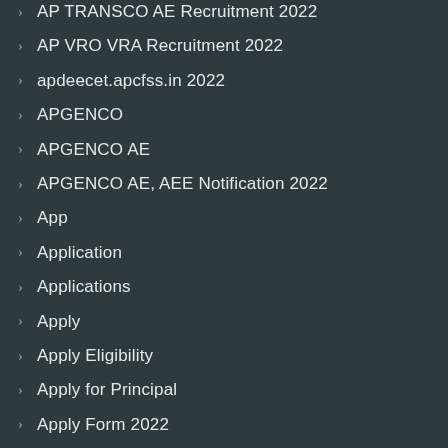AP TRANSCO AE Recruitment 2022
AP VRO VRA Recruitment 2022
apdeecet.apcfss.in 2022
APGENCO
APGENCO AE
APGENCO AE, AEE Notification 2022
App
Application
Applications
Apply
Apply Eligibility
Apply for Principal
Apply Form 2022
Apply Online